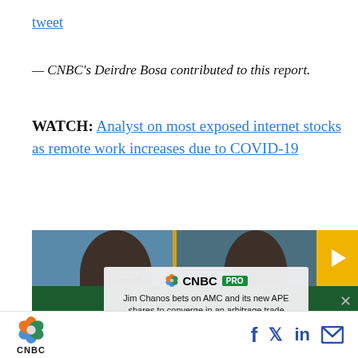tweet
— CNBC's Deirdre Bosa contributed to this report.
WATCH: Analyst on most exposed internet stocks as remote work increases due to COVID-19
[Figure (screenshot): CNBC video thumbnail showing two people on a TV set, with a CNBC PRO promotional overlay card reading 'Jim Chanos bets on AMC and its new APE shares to converge in an arbitrage trade', timecode 06:07, and a yellow play button in the top right corner.]
CNBC logo with social share icons: Facebook, Twitter, LinkedIn, Email